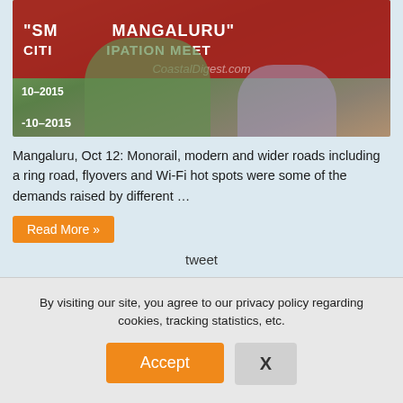[Figure (photo): Photo of a man in green shirt speaking at a Smart Mangaluru Citizen Participation Meet event, dated 10-2015. Another man in striped shirt visible to the right. Red banner background with white text.]
Mangaluru, Oct 12: Monorail, modern and wider roads including a ring road, flyovers and Wi-Fi hot spots were some of the demands raised by different …
Read More »
tweet
Avert further crisis, remove mud over water
By visiting our site, you agree to our privacy policy regarding cookies, tracking statistics, etc.
Accept
X